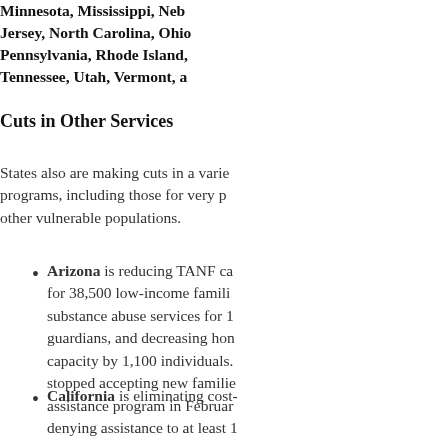Minnesota, Mississippi, Nebraska, New Jersey, North Carolina, Ohio, Pennsylvania, Rhode Island, Tennessee, Utah, Vermont, a
Cuts in Other Services
States also are making cuts in a variety of programs, including those for very poor and other vulnerable populations.
Arizona is reducing TANF cash assistance for 38,500 low-income families, cutting substance abuse services for 1 guardians, and decreasing home capacity by 1,100 individuals. stopped accepting new families assistance program in February denying assistance to at least 1
California is eliminating cost-of-living adjustments to cash assistance for low-income families and cutting ch
In Connecticut, the governor cuts to programs that help prev provide legal services for fa